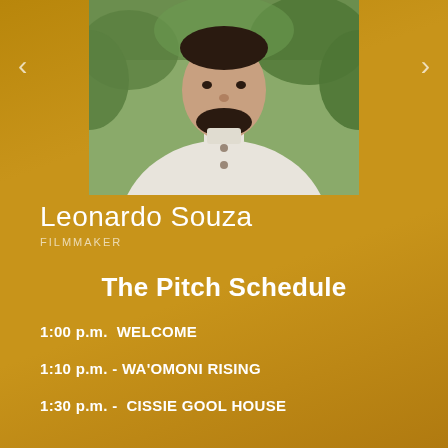[Figure (photo): Headshot photo of a man wearing a white linen shirt with mandarin collar, outdoors with green foliage background]
Leonardo Souza
FILMMAKER
The Pitch Schedule
1:00 p.m.  WELCOME
1:10 p.m. - WA'OMONI RISING
1:30 p.m. -  CISSIE GOOL HOUSE